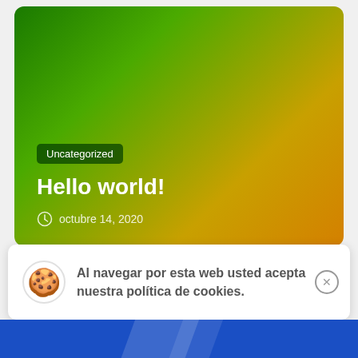[Figure (illustration): Hero card with green-to-orange gradient background containing a category badge, title, and date]
Uncategorized
Hello world!
octubre 14, 2020
Al navegar por esta web usted acepta nuestra política de cookies.